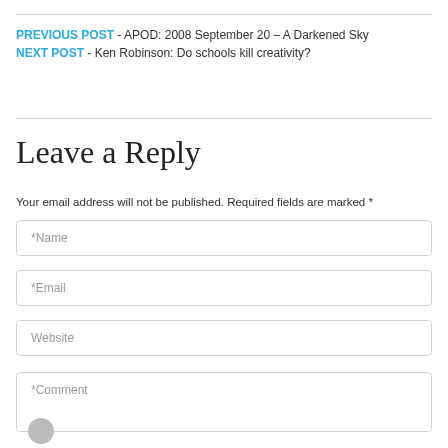PREVIOUS POST - APOD: 2008 September 20 – A Darkened Sky
NEXT POST - Ken Robinson: Do schools kill creativity?
Leave a Reply
Your email address will not be published. Required fields are marked *
*Name
*Email
Website
*Comment